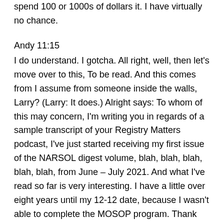spend 100 or 1000s of dollars it. I have virtually no chance.
Andy 11:15
I do understand. I gotcha. All right, well, then let's move over to this, To be read. And this comes from I assume from someone inside the walls, Larry? (Larry: It does.) Alright says: To whom of this may concern, I'm writing you in regards of a sample transcript of your Registry Matters podcast, I've just started receiving my first issue of the NARSOL digest volume, blah, blah, blah, blah, blah, from June – July 2021. And what I've read so far is very interesting. I have a little over eight years until my 12-12 date, because I wasn't able to complete the MOSOP program. Thank you. I'm hoping to hear from you. Larry, I have two questions for you. What is 12-12?